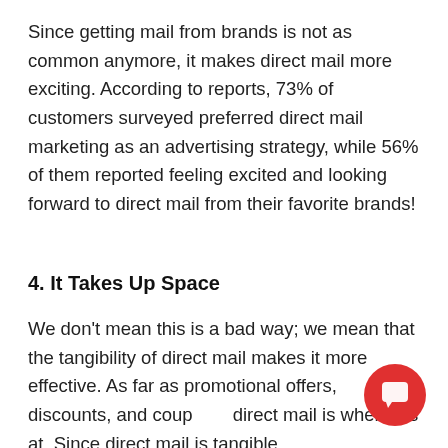Since getting mail from brands is not as common anymore, it makes direct mail more exciting. According to reports, 73% of customers surveyed preferred direct mail marketing as an advertising strategy, while 56% of them reported feeling excited and looking forward to direct mail from their favorite brands!
4. It Takes Up Space
We don't mean this is a bad way; we mean that the tangibility of direct mail makes it more effective. As far as promotional offers, discounts, and coupons, direct mail is where it's at. Since direct mail is tangible,